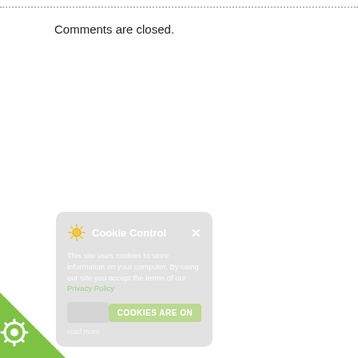Comments are closed.
[Figure (screenshot): Cookie Control popup overlay with title 'Cookie Control', gear/sun icon, close X button, body text 'This site uses cookies to store information on your computer. By using our site you accept the terms of our Privacy Policy.', a green 'Cookies are on' button with toggle, and a 'read more' link. Semi-transparent grey rounded rectangle overlay.]
[Figure (illustration): Green triangle badge in bottom-left corner with white gear/cogwheel icon, representing cookie control widget tab.]